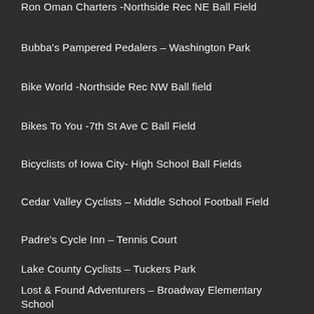Ron Oman Charters -Northside Rec NE Ball Field
Bubba's Pampered Pedalers – Washington Park
Bike World -Northside Rec NW Ball field
Bikes To You -7th St Ave C Ball Field
Bicyclists of Iowa City- High School Ball Fields
Cedar Valley Cyclists – Middle School Football Field
Padre's Cycle Inn – Tennis Court
Lake County Cyclists – Tuckers Park
Lost & Found Adventurers – Broadway Elementary School